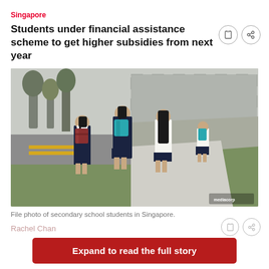Singapore
Students under financial assistance scheme to get higher subsidies from next year
[Figure (photo): File photo of secondary school students in Singapore walking away from camera on a path, wearing school uniforms with backpacks.]
File photo of secondary school students in Singapore.
Rachel Chan
Expand to read the full story